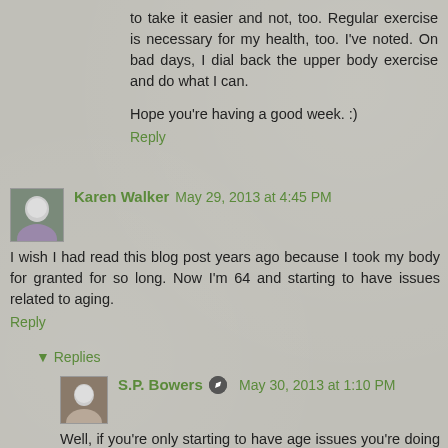to take it easier and not, too. Regular exercise is necessary for my health, too. I've noted. On bad days, I dial back the upper body exercise and do what I can.
Hope you're having a good week. :)
Reply
Karen Walker  May 29, 2013 at 4:45 PM
I wish I had read this blog post years ago because I took my body for granted for so long. Now I'm 64 and starting to have issues related to aging.
Reply
▼ Replies
S.P. Bowers  May 30, 2013 at 1:10 PM
Well, if you're only starting to have age issues you're doing pretty good! The good thing about our body is that treating it right now goes a long way towards getting it back to peak performance.